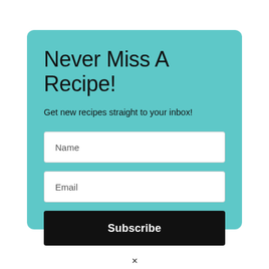Never Miss A Recipe!
Get new recipes straight to your inbox!
Name
Email
Subscribe